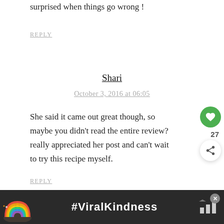surprised when things go wrong !
REPLY
Shari
October 3, 2016 at 06:05
She said it came out great though, so maybe you didn't read the entire review? really appreciated her post and can't wait to try this recipe myself.
REPLY
[Figure (infographic): Advertisement banner with a rainbow illustration on dark background and text #ViralKindness with a logo on the right]